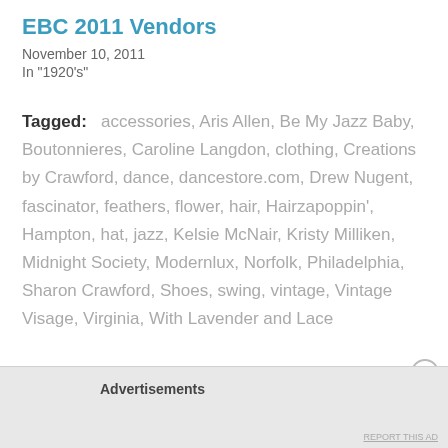EBC 2011 Vendors
November 10, 2011
In "1920's"
Tagged: accessories, Aris Allen, Be My Jazz Baby, Boutonnieres, Caroline Langdon, clothing, Creations by Crawford, dance, dancestore.com, Drew Nugent, fascinator, feathers, flower, hair, Hairzapoppin', Hampton, hat, jazz, Kelsie McNair, Kristy Milliken, Midnight Society, Modernlux, Norfolk, Philadelphia, Sharon Crawford, Shoes, swing, vintage, Vintage Visage, Virginia, With Lavender and Lace
Advertisements